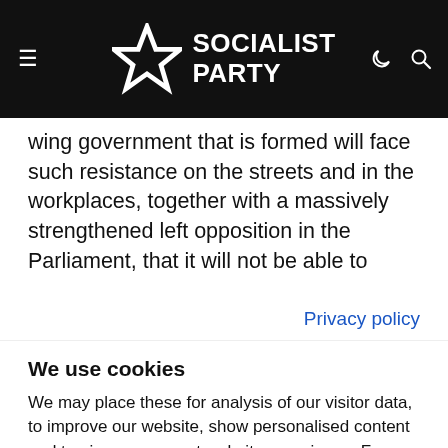Socialist Party
wing government that is formed will face such resistance on the streets and in the workplaces, together with a massively strengthened left opposition in the Parliament, that it will not be able to
Privacy policy
We use cookies
We may place these for analysis of our visitor data, to improve our website, show personalised content and to give you a great website experience. For more information about the cookies we use open the settings.
Accept all
Deny
No, adjust